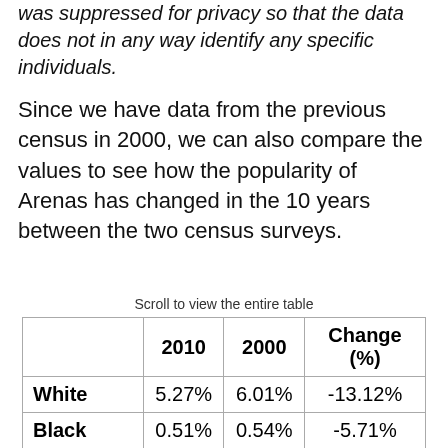was suppressed for privacy so that the data does not in any way identify any specific individuals.
Since we have data from the previous census in 2000, we can also compare the values to see how the popularity of Arenas has changed in the 10 years between the two census surveys.
Scroll to view the entire table
|  | 2010 | 2000 | Change (%) |
| --- | --- | --- | --- |
| White | 5.27% | 6.01% | -13.12% |
| Black | 0.51% | 0.54% | -5.71% |